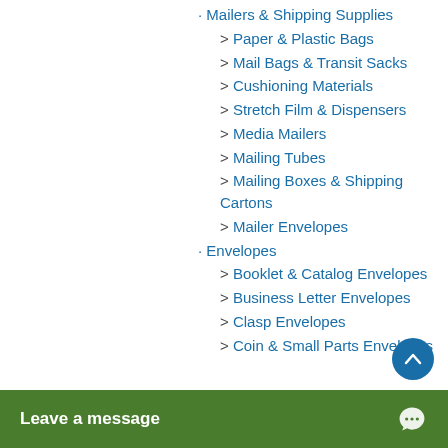• Mailers & Shipping Supplies
> Paper & Plastic Bags
> Mail Bags & Transit Sacks
> Cushioning Materials
> Stretch Film & Dispensers
> Media Mailers
> Mailing Tubes
> Mailing Boxes & Shipping Cartons
> Mailer Envelopes
• Envelopes
> Booklet & Catalog Envelopes
> Business Letter Envelopes
> Clasp Envelopes
> Coin & Small Parts Envelopes
Leave a message